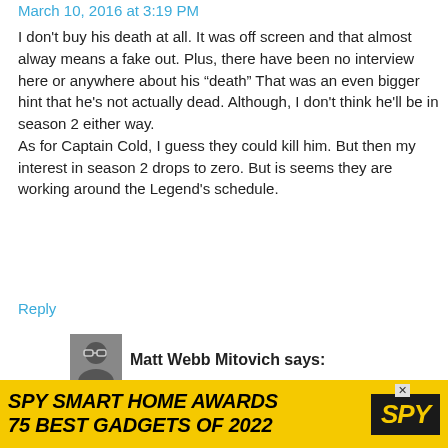March 10, 2016 at 3:19 PM
I don't buy his death at all. It was off screen and that almost alway means a fake out. Plus, there have been no interview here or anywhere about his “death” That was an even bigger hint that he's not actually dead. Although, I don't think he'll be in season 2 either way.
As for Captain Cold, I guess they could kill him. But then my interest in season 2 drops to zero. But is seems they are working around the Legend's schedule.
Reply
[Figure (photo): Avatar photo of Matt Webb Mitovich]
Matt Webb Mitovich says:
March 10, 2016 at 3:23 PM
Working around Legends schedule, as reported in January:
[Figure (other): Advertisement banner: SPY SMART HOME AWARDS 75 BEST GADGETS OF 2022]